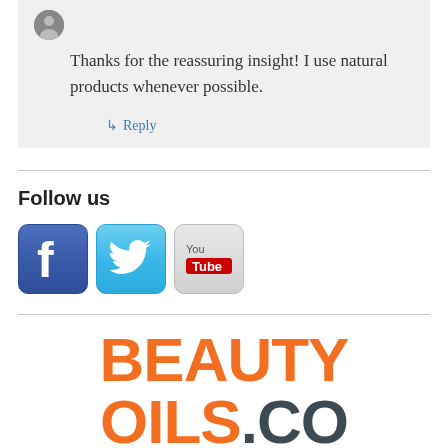Thanks for the reassuring insight! I use natural products whenever possible.
↳ Reply
Follow us
[Figure (logo): Facebook, Twitter, and YouTube social media icons]
[Figure (logo): BEAUTYOILS.CO logo in orange and dark grey text]